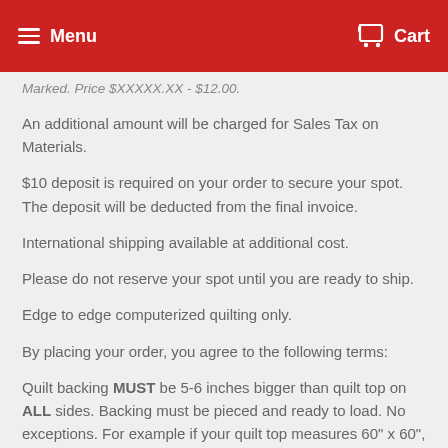Menu   Cart
Marked. Price $XXXXX.XX - $12.00.
An additional amount will be charged for Sales Tax on Materials.
$10 deposit is required on your order to secure your spot. The deposit will be deducted from the final invoice.
International shipping available at additional cost.
Please do not reserve your spot until you are ready to ship.
Edge to edge computerized quilting only.
By placing your order, you agree to the following terms:
Quilt backing MUST be 5-6 inches bigger than quilt top on ALL sides. Backing must be pieced and ready to load. No exceptions. For example if your quilt top measures 60" x 60", then your backing needs to be a minimum of 70" x 70".
Quilt and backing MUST be pressed well, free of holes, loose threads